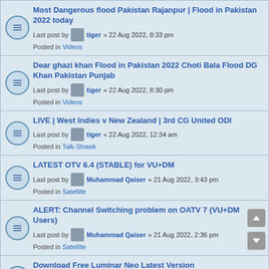Most Dangerous flood Pakistan Rajanpur | Flood in Pakistan 2022 today — Last post by tiger « 22 Aug 2022, 8:33 pm — Posted in Videos
Dear ghazi khan Flood in Pakistan 2022 Choti Bala Flood DG Khan Pakistan Punjab — Last post by tiger « 22 Aug 2022, 8:30 pm — Posted in Videos
LIVE | West Indies v New Zealand | 3rd CG United ODI — Last post by tiger « 22 Aug 2022, 12:34 am — Posted in Talk-Shawk
LATEST OTV 6.4 (STABLE) for VU+DM — Last post by Muhammad Qaiser « 21 Aug 2022, 3:43 pm — Posted in Satellite
ALERT: Channel Switching problem on OATV 7 (VU+DM Users) — Last post by Muhammad Qaiser « 21 Aug 2022, 2:36 pm — Posted in Satellite
Download Free Luminar Neo Latest Version — Last post by shahidoccm « 21 Aug 2022, 10:24 am — Posted in Trending